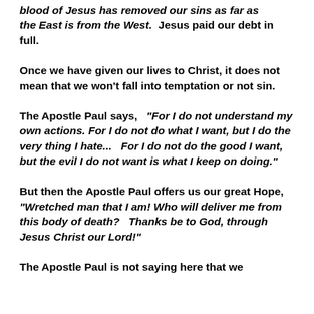blood of Jesus has removed our sins as far as the East is from the West. Jesus paid our debt in full.
Once we have given our lives to Christ, it does not mean that we won't fall into temptation or not sin.
The Apostle Paul says, "For I do not understand my own actions. For I do not do what I want, but I do the very thing I hate... For I do not do the good I want, but the evil I do not want is what I keep on doing."
But then the Apostle Paul offers us our great Hope, "Wretched man that I am! Who will deliver me from this body of death? Thanks be to God, through Jesus Christ our Lord!"
The Apostle Paul is not saying here that we...